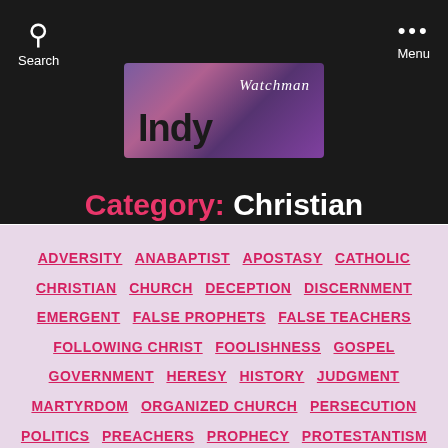[Figure (logo): Indy Watchman website logo — stylized text 'Indy' in black over purple/pink gradient background with 'Watchman' in white italic above]
Category: Christian
ADVERSITY ANABAPTIST APOSTASY CATHOLIC CHRISTIAN CHURCH DECEPTION DISCERNMENT EMERGENT FALSE PROPHETS FALSE TEACHERS FOLLOWING CHRIST FOOLISHNESS GOSPEL GOVERNMENT HERESY HISTORY JUDGMENT MARTYRDOM ORGANIZED CHURCH PERSECUTION POLITICS PREACHERS PROPHECY PROTESTANTISM REFORMATION RELIGION